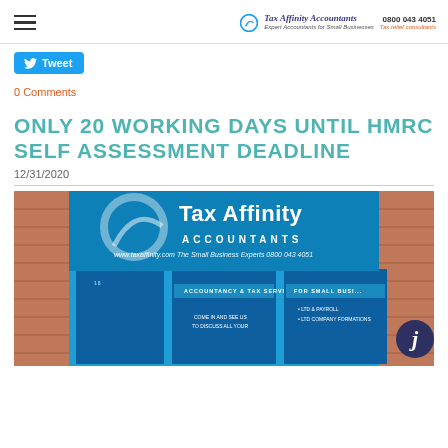Tax Affinity Accountants | The Small Business Experts | 0800 043 4051 | Tax relief consultants
Tweet
0 Comments
ONLY 20 WORKING DAYS UNTIL HMRC SELF ASSESSMENT DEADLINE
12/31/2020
[Figure (photo): Tax Affinity Accountants shopfront with bright blue signage reading Tax Affinity Accountants, The Small Business Experts, www.taxaffinity.com, 0800 043 4051, Accountancy & Tax Services for Small Businesses]